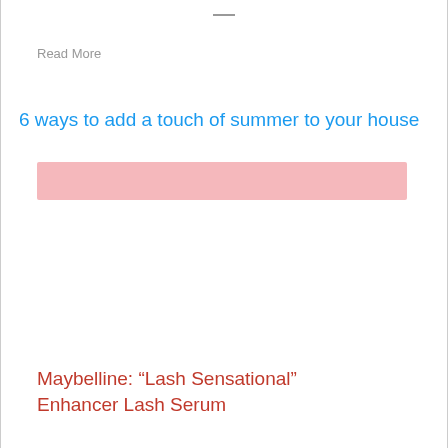—
Read More
6 ways to add a touch of summer to your house
[Figure (other): Pink/salmon colored rectangular banner image placeholder]
Maybelline: “Lash Sensational” Enhancer Lash Serum